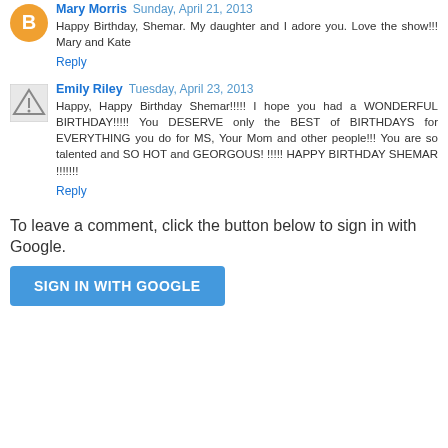Mary Morris  Sunday, April 21, 2013
Happy Birthday, Shemar. My daughter and I adore you. Love the show!!! Mary and Kate
Reply
Emily Riley  Tuesday, April 23, 2013
Happy, Happy Birthday Shemar!!!!! I hope you had a WONDERFUL BIRTHDAY!!!!! You DESERVE only the BEST of BIRTHDAYS for EVERYTHING you do for MS, Your Mom and other people!!! You are so talented and SO HOT and GEORGOUS! !!!!! HAPPY BIRTHDAY SHEMAR !!!!!!!
Reply
To leave a comment, click the button below to sign in with Google.
SIGN IN WITH GOOGLE